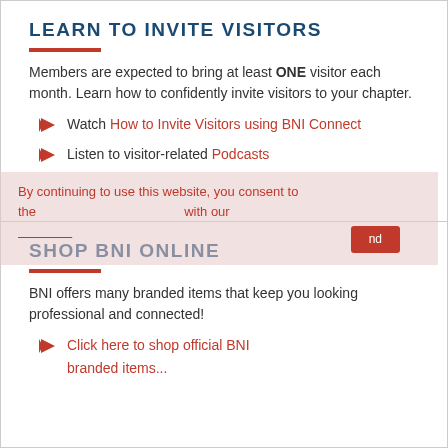LEARN TO INVITE VISITORS
Members are expected to bring at least ONE visitor each month. Learn how to confidently invite visitors to your chapter.
Watch How to Invite Visitors using BNI Connect
Listen to visitor-related Podcasts
SHOP BNI ONLINE
BNI offers many branded items that keep you looking professional and connected!
Click here to shop official BNI branded items